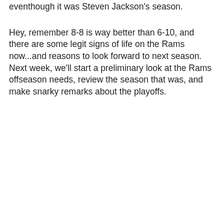eventhough it was Steven Jackson's season.
Hey, remember 8-8 is way better than 6-10, and there are some legit signs of life on the Rams now...and reasons to look forward to next season. Next week, we'll start a preliminary look at the Rams offseason needs, review the season that was, and make snarky remarks about the playoffs.